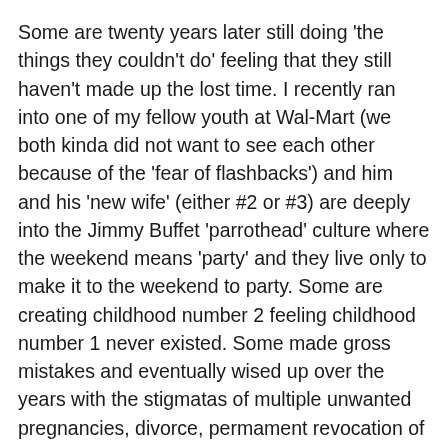Some are twenty years later still doing 'the things they couldn't do' feeling that they still haven't made up the lost time. I recently ran into one of my fellow youth at Wal-Mart (we both kinda did not want to see each other because of the 'fear of flashbacks') and him and his 'new wife' (either #2 or #3) are deeply into the Jimmy Buffet 'parrothead' culture where the weekend means 'party' and they live only to make it to the weekend to party. Some are creating childhood number 2 feeling childhood number 1 never existed. Some made gross mistakes and eventually wised up over the years with the stigmatas of multiple unwanted pregnancies, divorce, permament revocation of driver licenses, alcohol/drug addiction rehab, death of the sibling due to the sibling trying to make up for lost time, etc.